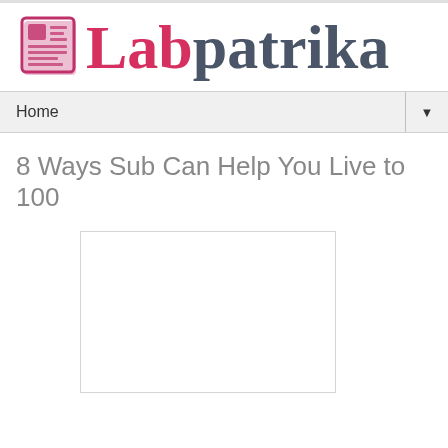[Figure (logo): Labpatrika logo with newspaper icon on the left and the text 'Lab' in red/pink and 'patrika' in dark gray]
Home ▼
8 Ways Sub Can Help You Live to 100
[Figure (other): White rectangular image placeholder with light gray border]